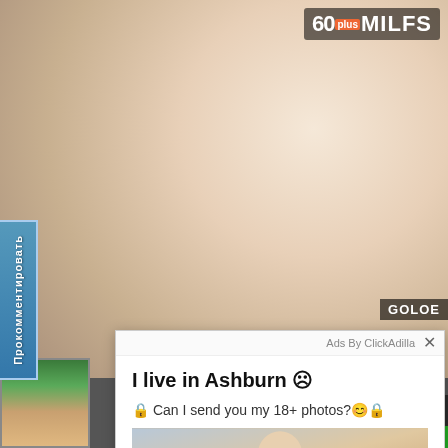[Figure (photo): Adult content screenshot from a website showing explicit imagery with watermark '60plusMILFS' in top right corner and 'GOLOE' watermark in bottom right area]
Прокомментировать
[Figure (screenshot): Ad overlay popup: 'Ads By ClickAdilla' with close X button. Text reads: 'I live in Ashburn ☹' and '🔒 Can I send you my 18+ photos?😊🔒' with a photo of a blonde woman in sunglasses]
Ads By ClickAdilla
I live in Ashburn ☹
🔒 Can I send you my 18+ photos?😊🔒
02:19
Тъ 1